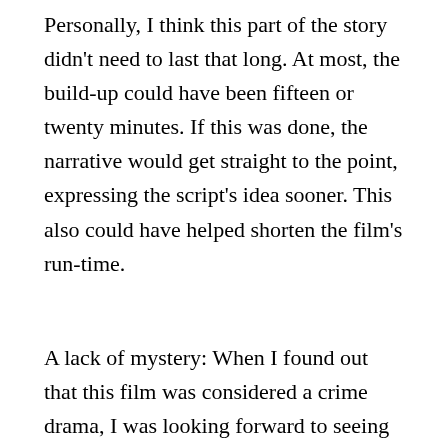Personally, I think this part of the story didn't need to last that long. At most, the build-up could have been fifteen or twenty minutes. If this was done, the narrative would get straight to the point, expressing the script's idea sooner. This also could have helped shorten the film's run-time.
A lack of mystery: When I found out that this film was considered a crime drama, I was looking forward to seeing a mysterious and intriguing story unfold on-screen. Unfortunately, there wasn't a lot of mystery in this movie. The creative team behind Madeleine tried to incorporate a